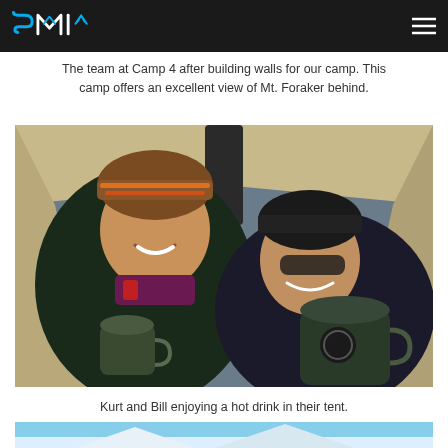SMI (logo)
The team at Camp 4 after building walls for our camp. This camp offers an excellent view of Mt. Foraker behind.
[Figure (photo): Two mountaineers wearing insulated jackets and wool hats labeled McKinley, smiling inside a tent while holding large insulated mugs. The tent fabric is visible behind them.]
Kurt and Bill enjoying a hot drink in their tent.
[Figure (photo): Partial view of another outdoor/mountain photo at the bottom of the page, showing blue sky and possibly snow.]